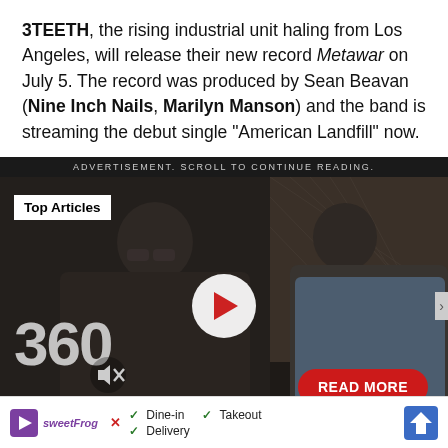3TEETH, the rising industrial unit haling from Los Angeles, will release their new record Metawar on July 5. The record was produced by Sean Beavan (Nine Inch Nails, Marilyn Manson) and the band is streaming the debut single "American Landfill" now.
ADVERTISEMENT. SCROLL TO CONTINUE READING.
[Figure (screenshot): Video player showing two men standing together, large '360' text overlay, 'Top Articles' badge, play button, mute icon, and 'READ MORE' button]
[Figure (infographic): Ad footer with sweetFrog logo, checkmarks for Dine-in, Takeout, Delivery, and a map navigation icon]